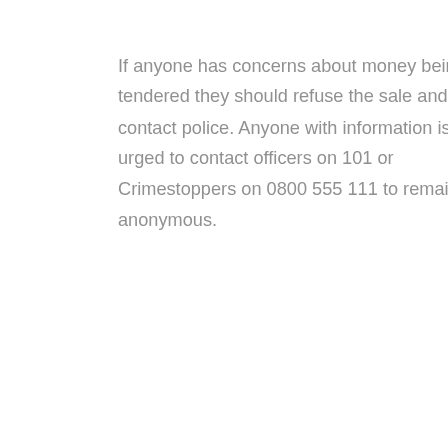If anyone has concerns about money being tendered they should refuse the sale and contact police. Anyone with information is urged to contact officers on 101 or Crimestoppers on 0800 555 111 to remain anonymous.